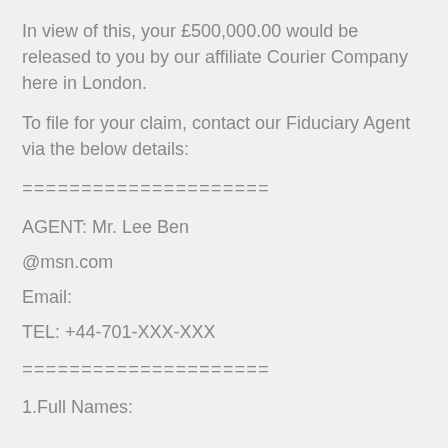In view of this, your £500,000.00 would be released to you by our affiliate Courier Company here in London.
To file for your claim, contact our Fiduciary Agent via the below details:
=====================
AGENT: Mr. Lee Ben
@msn.com
Email:
TEL: +44-701-XXX-XXX
=====================
1.Full Names: